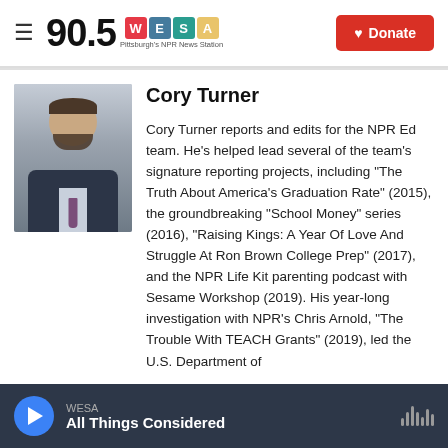90.5 WESA — Pittsburgh's NPR News Station | Donate
[Figure (photo): Headshot photo of Cory Turner, a man with dark hair and beard, wearing a suit and tie, smiling]
Cory Turner
Cory Turner reports and edits for the NPR Ed team. He's helped lead several of the team's signature reporting projects, including "The Truth About America's Graduation Rate" (2015), the groundbreaking "School Money" series (2016), "Raising Kings: A Year Of Love And Struggle At Ron Brown College Prep" (2017), and the NPR Life Kit parenting podcast with Sesame Workshop (2019). His year-long investigation with NPR's Chris Arnold, "The Trouble With TEACH Grants" (2019), led the U.S. Department of
WESA — All Things Considered